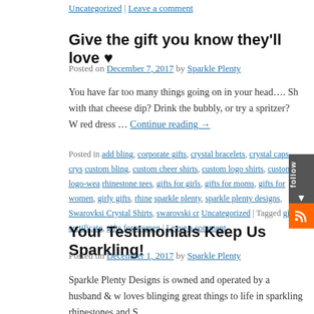Uncategorized | Leave a comment
Give the gift you know they'll love ♥
Posted on December 7, 2017 by Sparkle Plenty
You have far too many things going on in your head…. Sh with that cheese dip? Drink the bubbly, or try a spritzer? W red dress … Continue reading →
Posted in add bling, corporate gifts, crystal bracelets, crystal caps, crys custom bling, custom cheer shirts, custom logo shirts, custom logo-wea rhinestone tees, gifts for girls, gifts for moms, gifts for women, girly gifts, rhine sparkle plenty, sparkle plenty designs, Swarovksi Crystal Shirts, swarovski cr Uncategorized | Tagged gift certificate, gifts for women | Leave a comment
Your Testimonials Keep Us Sparkling!
Posted on December 1, 2017 by Sparkle Plenty
Sparkle Plenty Designs is owned and operated by a husband & w loves blinging great things to life in sparkling rhinestones and S